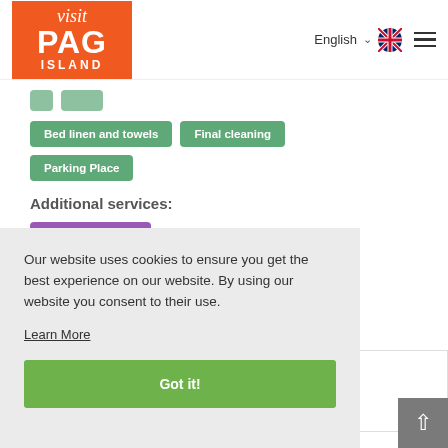[Figure (logo): Visit Pag Island logo - orange background with white italic 'visit' and bold 'PAG ISLAND' text]
English [flag] [menu]
Bed linen and towels
Final cleaning
Parking Place
Additional services:
Pets: 5.00 € - day
Internet access: Price negotiable
Our website uses cookies to ensure you get the best experience on our website. By using our website you consent to their use.
Learn More
Got it!